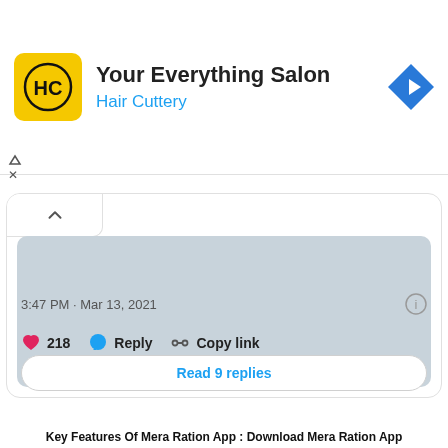[Figure (screenshot): Hair Cuttery ad banner with yellow logo, title 'Your Everything Salon', subtitle 'Hair Cuttery', and a blue navigation icon]
[Figure (screenshot): Twitter/social media post card showing a collapsed header, a grey image placeholder, timestamp '3:47 PM · Mar 13, 2021', like count 218, Reply, Copy link actions, and 'Read 9 replies' button]
Key Features Of Mera Ration App : Download Mera Ration App